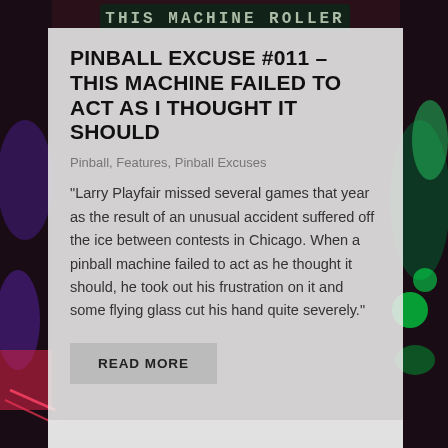[Figure (photo): Background image of a colorful pinball machine with blue, green, and purple lighting effects, dark wooden surroundings]
PINBALL EXCUSE #011 – THIS MACHINE FAILED TO ACT AS I THOUGHT IT SHOULD
Pinball, Features, Pinball Excuses
“Larry Playfair missed several games that year as the result of an unusual accident suffered off the ice between contests in Chicago. When a pinball machine failed to act as he thought it should, he took out his frustration on it and some flying glass cut his hand quite severely.”
READ MORE